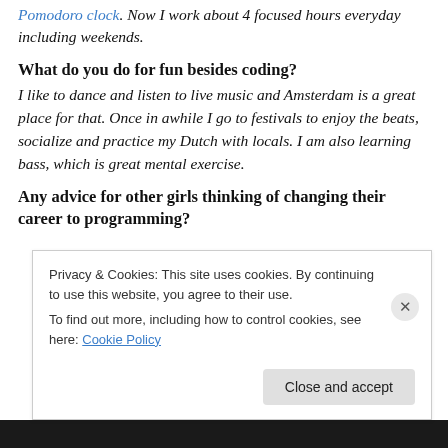Pomodoro clock. Now I work about 4 focused hours everyday including weekends.
What do you do for fun besides coding?
I like to dance and listen to live music and Amsterdam is a great place for that. Once in awhile I go to festivals to enjoy the beats, socialize and practice my Dutch with locals. I am also learning bass, which is great mental exercise.
Any advice for other girls thinking of changing their career to programming?
Privacy & Cookies: This site uses cookies. By continuing to use this website, you agree to their use.
To find out more, including how to control cookies, see here: Cookie Policy
Close and accept